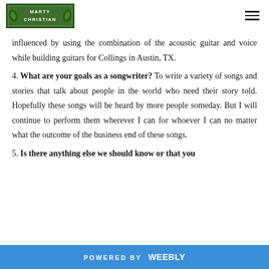MARTY CHRISTIAN
influenced by using the combination of the acoustic guitar and voice while building guitars for Collings in Austin, TX.
4. What are your goals as a songwriter? To write a variety of songs and stories that talk about people in the world who need their story told. Hopefully these songs will be heard by more people someday. But I will continue to perform them wherever I can for whoever I can no matter what the outcome of the business end of these songs.
5. Is there anything else we should know or that you
POWERED BY Weebly